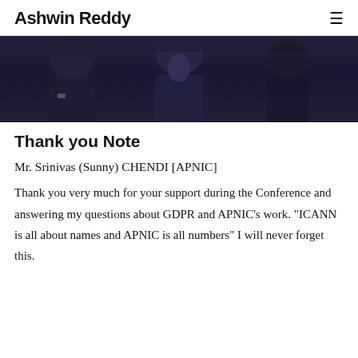Ashwin Reddy
[Figure (photo): Cropped photo showing people at a conference, dark clothing, partial view of individuals]
Thank you Note
Mr. Srinivas (Sunny) CHENDI [APNIC]
Thank you very much for your support during the Conference and answering my questions about GDPR and APNIC’s work. “ICANN is all about names and APNIC is all numbers” I will never forget this.